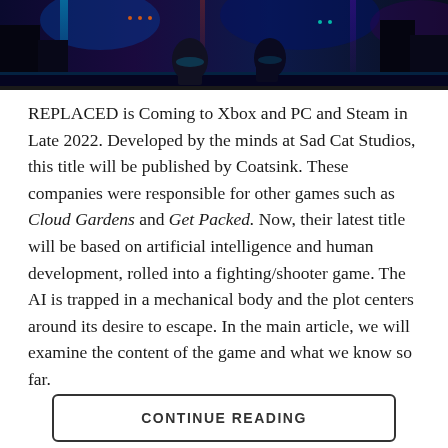[Figure (illustration): Dark colorful video game scene with characters in a neon-lit environment, cyberpunk style]
REPLACED is Coming to Xbox and PC and Steam in Late 2022. Developed by the minds at Sad Cat Studios, this title will be published by Coatsink. These companies were responsible for other games such as Cloud Gardens and Get Packed. Now, their latest title will be based on artificial intelligence and human development, rolled into a fighting/shooter game. The AI is trapped in a mechanical body and the plot centers around its desire to escape. In the main article, we will examine the content of the game and what we know so far.
CONTINUE READING